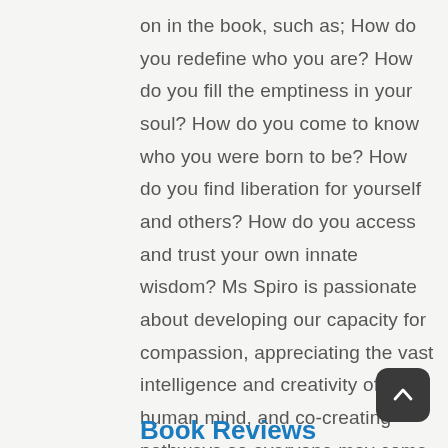on in the book, such as; How do you redefine who you are? How do you fill the emptiness in your soul? How do you come to know who you were born to be? How do you find liberation for yourself and others? How do you access and trust your own innate wisdom? Ms Spiro is passionate about developing our capacity for compassion, appreciating the vast intelligence and creativity of the human mind, and co-creating pathways so everyone may come home.
Book Reviews